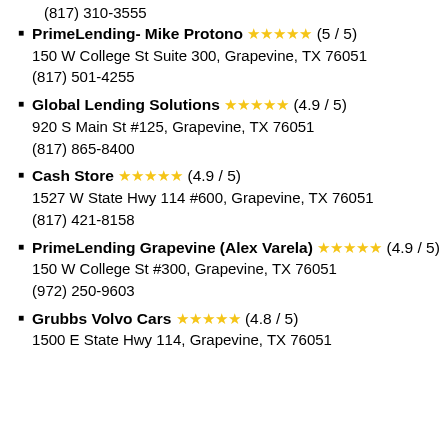(817) 310-3555
PrimeLending- Mike Protono ★★★★★ (5 / 5)
150 W College St Suite 300, Grapevine, TX 76051
(817) 501-4255
Global Lending Solutions ★★★★★ (4.9 / 5)
920 S Main St #125, Grapevine, TX 76051
(817) 865-8400
Cash Store ★★★★★ (4.9 / 5)
1527 W State Hwy 114 #600, Grapevine, TX 76051
(817) 421-8158
PrimeLending Grapevine (Alex Varela) ★★★★★ (4.9 / 5)
150 W College St #300, Grapevine, TX 76051
(972) 250-9603
Grubbs Volvo Cars ★★★★★ (4.8 / 5)
1500 E State Hwy 114, Grapevine, TX 76051